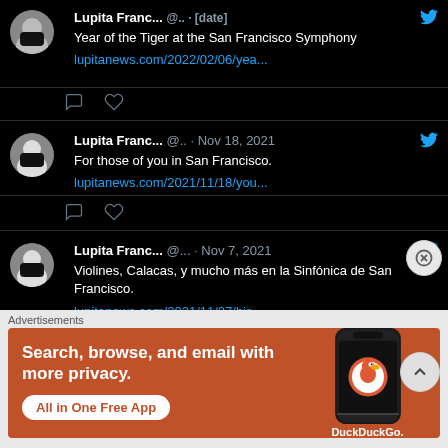[Figure (screenshot): Partial tweet (top): Lupita Franc... @.. · [date] — Year of the Tiger at the San Francisco Symphony. lupitanews.com/2022/02/06/yea... with comment and like icons]
[Figure (screenshot): Tweet by Lupita Franc... @.. · Nov 18, 2021 — For those of you in San Francisco. lupitanews.com/2021/11/18/you... with comment and like icons]
[Figure (screenshot): Tweet by Lupita Franc... @.. · Nov 7, 2021 — Violines, Calacas, y mucho más en la Sinfónica de San Francisco. lupitanews.com/2021/11/07/his... (partial, cut off)]
Advertisements
[Figure (photo): DuckDuckGo advertisement banner: orange background, white bold text 'Search, browse, and email with more privacy.' with white button 'All in One Free App' and phone image showing DuckDuckGo logo]